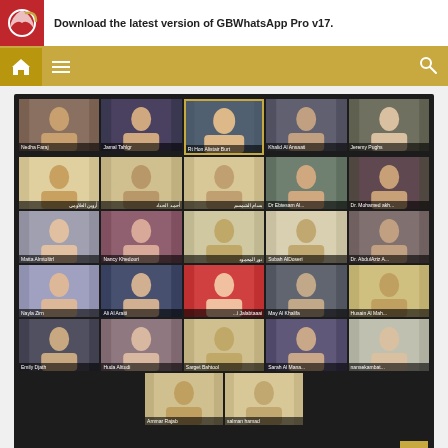Download the latest version of GBWhatsApp Pro v17.
[Figure (screenshot): Video conference grid showing approximately 27 participants in a virtual meeting. Participants include Nedha Faraj, Jamal Tahlgr, Rt Hon Alistair Burt, Khalid Al Ansaati, Jeremy Pughs, and many others including Arabic-named participants. One participant (Rt Hon Alistair Burt) is highlighted with a gold border. The interface shows a dark background with participant name labels at the bottom of each video tile.]
TOP NEWS